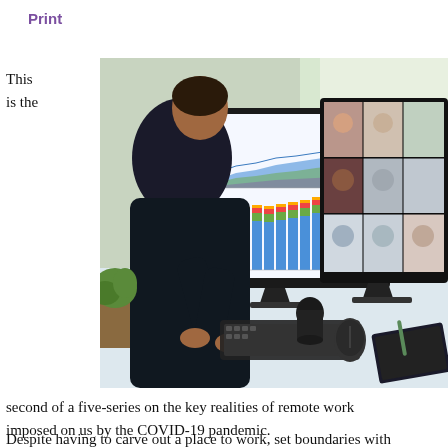Print
This
is the
[Figure (photo): Woman sitting at a desk working on two monitors showing charts/dashboards on the left monitor and a video conference call with multiple participants on the right monitor. A keyboard, mouse, notebook, and small speaker are visible on the desk.]
second of a five-series on the key realities of remote work
imposed on us by the COVID-19 pandemic.
Despite having to carve out a place to work, set boundaries with